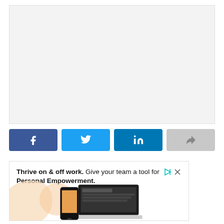[Figure (other): Large blank/placeholder content area with light gray background]
[Figure (infographic): Social share buttons row: Facebook (dark blue, f icon), Twitter (light blue, bird icon), LinkedIn (teal, in icon), Share (gray, arrow icon)]
[Figure (screenshot): Advertisement banner: 'Thrive on & off work. Give your team a tool for Personal Empowerment.' with decorative blobs and device mockup images (laptop and phone) on a light background.]